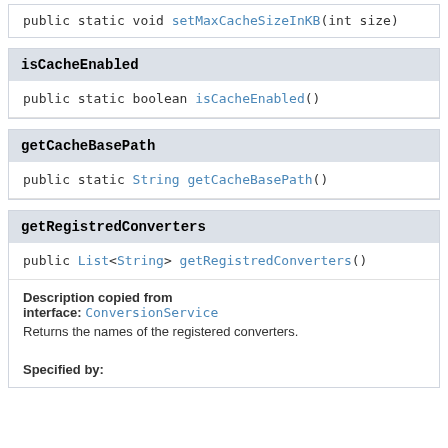public static void setMaxCacheSizeInKB(int size)
isCacheEnabled
public static boolean isCacheEnabled()
getCacheBasePath
public static String getCacheBasePath()
getRegistredConverters
public List<String> getRegistredConverters()
Description copied from interface: ConversionService
Returns the names of the registered converters.
Specified by: